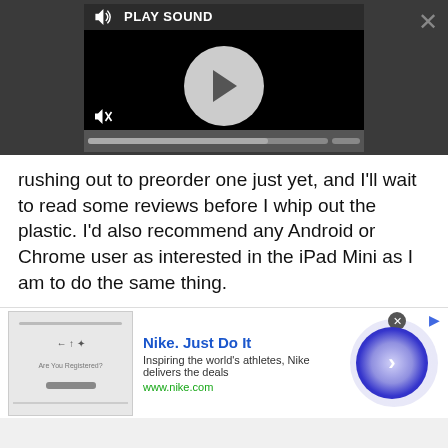[Figure (screenshot): Video/audio media player overlay with play button, speaker icons, play sound label, and progress bar on dark background]
rushing out to preorder one just yet, and I'll wait to read some reviews before I whip out the plastic. I'd also recommend any Android or Chrome user as interested in the iPad Mini as I am to do the same thing.
I've talked to a lot of you guys who use an iPad along with your Android phones, and I think I get it now. I'm not going to write it off just because it's from that
[Figure (screenshot): Nike advertisement banner: Nike. Just Do It. Inspiring the world's athletes, Nike delivers the deals. www.nike.com with thumbnail and blue circle CTA button]